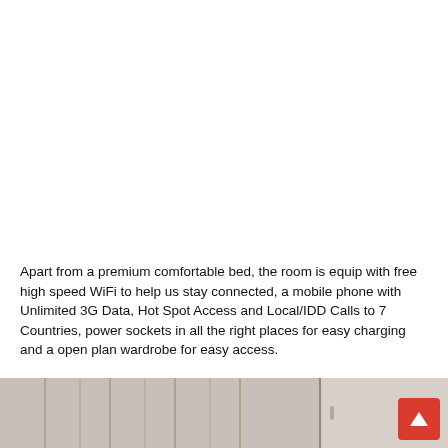Apart from a premium comfortable bed, the room is equip with free high speed WiFi to help us stay connected, a mobile phone with Unlimited 3G Data, Hot Spot Access and Local/IDD Calls to 7 Countries, power sockets in all the right places for easy charging and a open plan wardrobe for easy access.
[Figure (photo): Partial view of a hotel room wardrobe/closet area with white paneling and curtains]